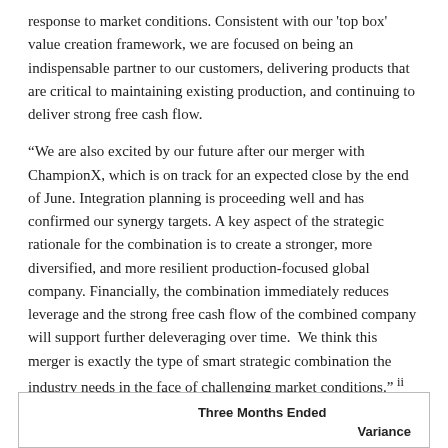response to market conditions. Consistent with our 'top box' value creation framework, we are focused on being an indispensable partner to our customers, delivering products that are critical to maintaining existing production, and continuing to deliver strong free cash flow.
“We are also excited by our future after our merger with ChampionX, which is on track for an expected close by the end of June. Integration planning is proceeding well and has confirmed our synergy targets. A key aspect of the strategic rationale for the combination is to create a stronger, more diversified, and more resilient production-focused global company. Financially, the combination immediately reduces leverage and the strong free cash flow of the combined company will support further deleveraging over time.  We think this merger is exactly the type of smart strategic combination the industry needs in the face of challenging market conditions.” ii
| Three Months Ended | Variance |
| --- | --- |